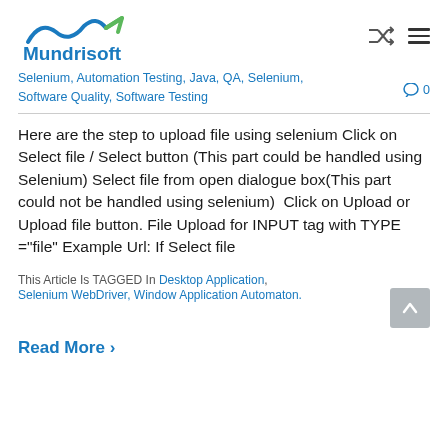Mundrisoft
Selenium, Automation Testing, Java, QA, Selenium, Software Quality, Software Testing  0
Here are the step to upload file using selenium Click on Select file / Select button (This part could be handled using Selenium) Select file from open dialogue box(This part could not be handled using selenium)  Click on Upload or Upload file button. File Upload for INPUT tag with TYPE ="file" Example Url: If Select file
This Article Is TAGGED In Desktop Application, Selenium WebDriver, Window Application Automaton.
Read More >